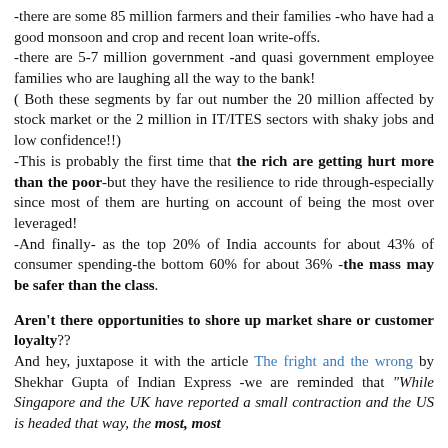-there are some 85 million farmers and their families -who have had a good monsoon and crop and recent loan write-offs.
-there are 5-7 million government -and quasi government employee families who are laughing all the way to the bank!
( Both these segments by far out number the 20 million affected by stock market or the 2 million in IT/ITES sectors with shaky jobs and low confidence!!)
-This is probably the first time that the rich are getting hurt more than the poor-but they have the resilience to ride through-especially since most of them are hurting on account of being the most over leveraged!
-And finally- as the top 20% of India accounts for about 43% of consumer spending-the bottom 60% for about 36% -the mass may be safer than the class.
Aren't there opportunities to shore up market share or customer loyalty??
And hey, juxtapose it with the article The fright and the wrong by Shekhar Gupta of Indian Express -we are reminded that "While Singapore and the UK have reported a small contraction and the US is headed that way, the most, most